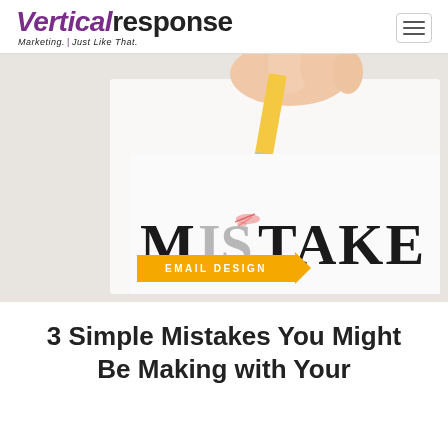VerticalResponse Marketing. Just Like That.
[Figure (photo): A hand holding a pencil erasing the word MISTAKE printed in bold serif text on white paper, with red eraser shavings visible]
EMAIL DESIGN
3 Simple Mistakes You Might Be Making with Your